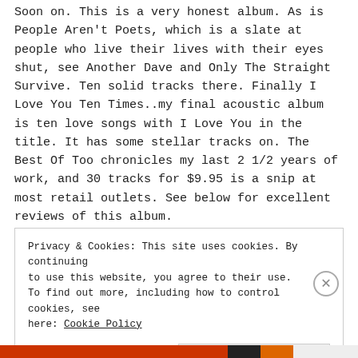Soon on. This is a very honest album. As is People Aren't Poets, which is a slate at people who live their lives with their eyes shut, see Another Dave and Only The Straight Survive. Ten solid tracks there. Finally I Love You Ten Times..my final acoustic album is ten love songs with I Love You in the title. It has some stellar tracks on. The Best Of Too chronicles my last 2 1/2 years of work, and 30 tracks for $9.95 is a snip at most retail outlets. See below for excellent reviews of this album.
Privacy & Cookies: This site uses cookies. By continuing to use this website, you agree to their use. To find out more, including how to control cookies, see here: Cookie Policy
Close and accept